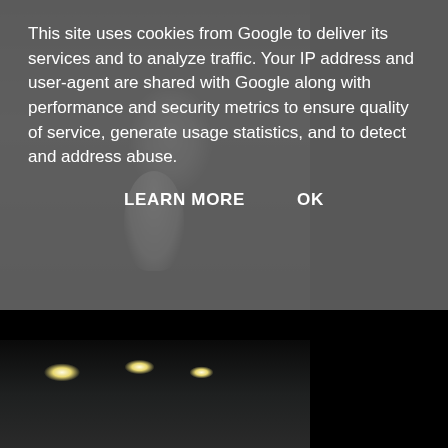[Figure (photo): Black and white photograph of an industrial or storage interior space, partially obscured by cookie consent overlay. A person in white clothing is visible in the center of the photo.]
This site uses cookies from Google to deliver its services and to analyze traffic. Your IP address and user-agent are shared with Google along with performance and security metrics to ensure quality of service, generate usage statistics, and to detect and address abuse.
LEARN MORE    OK
[Figure (photo): Black and white or dark-toned photograph of an industrial interior, showing ceiling lights illuminating a large warehouse or factory space with structural columns and equipment.]